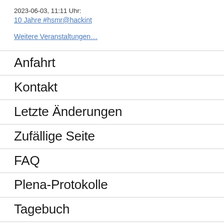2023-06-03, 11:11 Uhr:
10 Jahre #hsmr@hackint
Weitere Veranstaltungen…
Anfahrt
Kontakt
Letzte Änderungen
Zufällige Seite
FAQ
Plena-Protokolle
Tagebuch